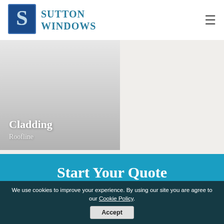Sutton Windows
[Figure (illustration): Sutton Windows logo with stylized 'S' icon in blue and white, with company name 'Sutton Windows' in teal serif text]
Cladding
Roofline
Start Your Quote
We use cookies to improve your experience. By using our site you are agree to our Cookie Policy. Accept